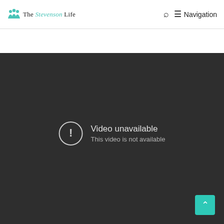The Stevenson Life — Navigation
[Figure (screenshot): Embedded video player showing 'Video unavailable — This video is not available' error message on dark background]
Video unavailable
This video is not available